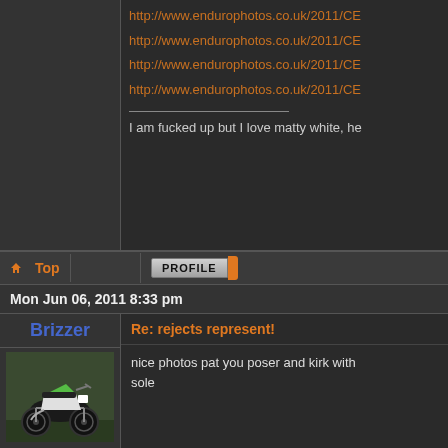http://www.endurophotos.co.uk/2011/CE
http://www.endurophotos.co.uk/2011/CE
http://www.endurophotos.co.uk/2011/CE
http://www.endurophotos.co.uk/2011/CE
I am fucked up but I love matty white, he
Top
PROFILE
Mon Jun 06, 2011 8:33 pm
Brizzer
Re: rejects represent!
[Figure (photo): Avatar photo of a green dirt bike / motocross bike on grass]
[Figure (logo): Orange badge/logo with R symbol, heart, and KTM branding]
nice photos pat you poser and kirk with sole